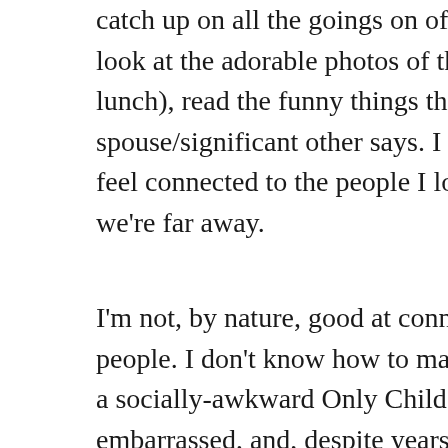catch up on all the goings on of my friends' lives, look at the adorable photos of their kids (or lunch), read the funny things their spouse/significant other says.  I guess it helps me feel connected to the people I love even when we're far away.
I'm not, by nature, good at connecting with people.  I don't know how to make the effort.  I'm a socially-awkward Only Child who's easily embarrassed, and, despite years of training myself otherwise, quite the introvert.  Yet I love deeply and with much loyalty, even when miles and time separate me from the people I care about.  It might be